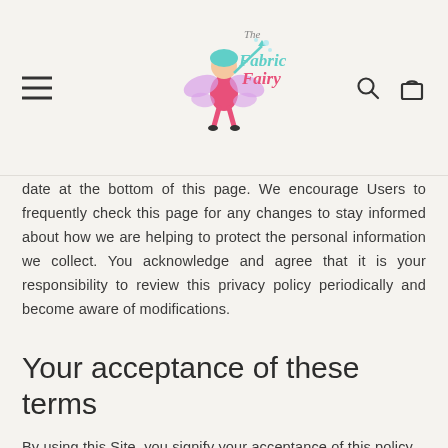The Fabric Fairy [logo with navigation icons]
date at the bottom of this page. We encourage Users to frequently check this page for any changes to stay informed about how we are helping to protect the personal information we collect. You acknowledge and agree that it is your responsibility to review this privacy policy periodically and become aware of modifications.
Your acceptance of these terms
By using this Site, you signify your acceptance of this policy and terms of service.
Contacting us